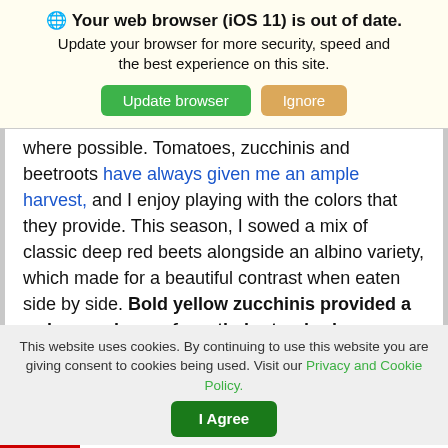🌐 Your web browser (iOS 11) is out of date. Update your browser for more security, speed and the best experience on this site. [Update browser] [Ignore]
where possible. Tomatoes, zucchinis and beetroots have always given me an ample harvest, and I enjoy playing with the colors that they provide. This season, I sowed a mix of classic deep red beets alongside an albino variety, which made for a beautiful contrast when eaten side by side. Bold yellow zucchinis provided a welcome change from their standard green cousins, while eye-catching striped tomatoes were a pleasure to behold. There is an infinite
This website uses cookies. By continuing to use this website you are giving consent to cookies being used. Visit our Privacy and Cookie Policy. [I Agree]